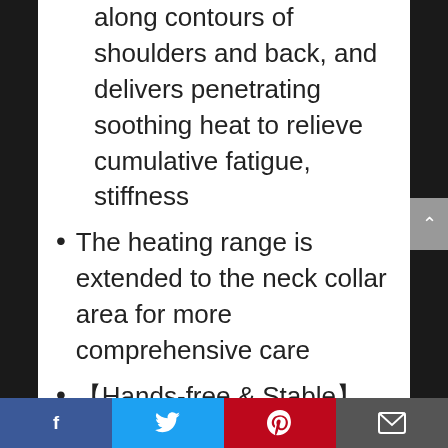along contours of shoulders and back, and delivers penetrating soothing heat to relieve cumulative fatigue, stiffness
The heating range is extended to the neck collar area for more comprehensive care
【Hands-free & Stable】The electric heating pad stays in place around back and shoulder areas for hands-free convenience with magnetic clasps, slightly weighted edges and fixture straps, without slipping or coming loose, which also keeps the pad flat during the use
Facebook | Twitter | Pinterest | Email